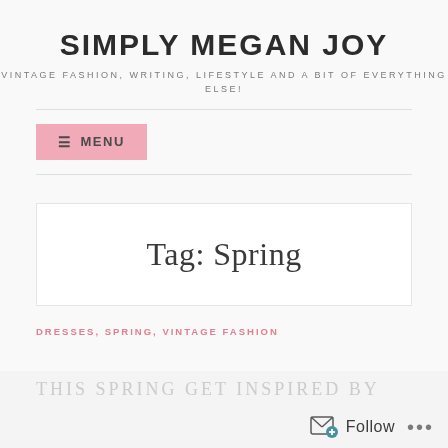SIMPLY MEGAN JOY
VINTAGE FASHION, WRITING, LIFESTYLE AND A BIT OF EVERYTHING ELSE!
≡ MENU
Tag: Spring
DRESSES, SPRING, VINTAGE FASHION
Follow